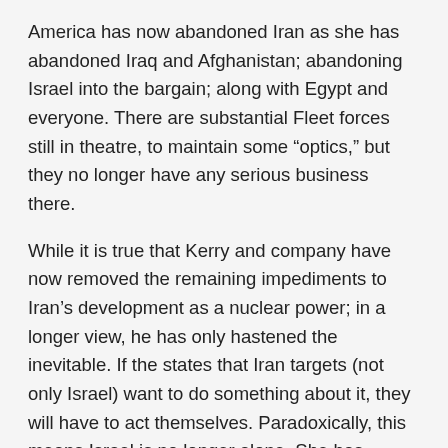America has now abandoned Iran as she has abandoned Iraq and Afghanistan; abandoning Israel into the bargain; along with Egypt and everyone. There are substantial Fleet forces still in theatre, to maintain some “optics,” but they no longer have any serious business there.
While it is true that Kerry and company have now removed the remaining impediments to Iran’s development as a nuclear power; in a longer view, he has only hastened the inevitable. If the states that Iran targets (not only Israel) want to do something about it, they will have to act themselves. Paradoxically, this means Israel is no longer alone. She has friends now in Cairo, Amman, and even Riyadh, that she could not have hoped to keep had Iran been successfully isolated. So thank you for this mitzvah, John Kerry.
Also, thank everyone for the cheap oil. The Arabs are